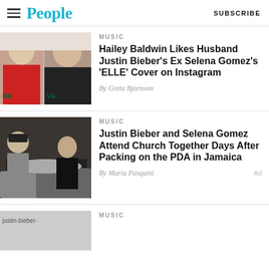People | SUBSCRIBE
MUSIC
Hailey Baldwin Likes Husband Justin Bieber's Ex Selena Gomez's 'ELLE' Cover on Instagram
By Greta Bjornson
MUSIC
Justin Bieber and Selena Gomez Attend Church Together Days After Packing on the PDA in Jamaica
By Maria Pasquini
MUSIC